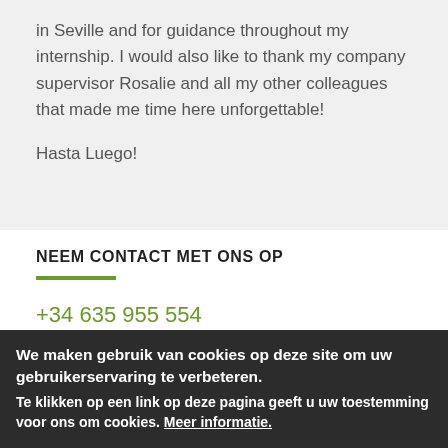in Seville and for guidance throughout my internship. I would also like to thank my company supervisor Rosalie and all my other colleagues that made me time here unforgettable!
Hasta Luego!
NEEM CONTACT MET ONS OP
+34 635 955 554
+34 955 384 005
info@atdspain.com
We maken gebruik van cookies op deze site om uw gebruikerservaring te verbeteren.
Te klikken op een link op deze pagina geeft u uw toestemming voor ons om cookies. Meer informatie.